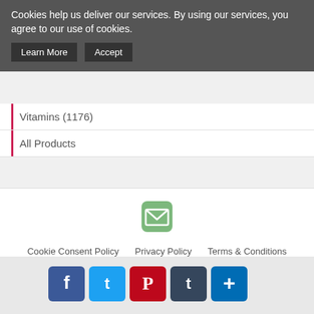Cookies help us deliver our services. By using our services, you agree to our use of cookies.
Learn More  Accept
Vitamins (1176)
All Products
[Figure (infographic): Green email/envelope icon]
Cookie Consent Policy   Privacy Policy   Terms & Conditions   Site Map   Brands
Compare Diet Pill Prices
Copyright © 2022. All rights reserved.
Compare Diet Pill Prices is a participant in the Amazon Services LLC Associates Program, an affiliate advertising program designed to provide a means for sites to earn advertising fees by advertising and linking to Amazon.com, Endless.com, MYHABIT.com, SmallParts.com, or AmazonWireless.com.
[Figure (infographic): Social media share buttons: Facebook, Twitter, Pinterest, Tumblr, and a plus/share button]